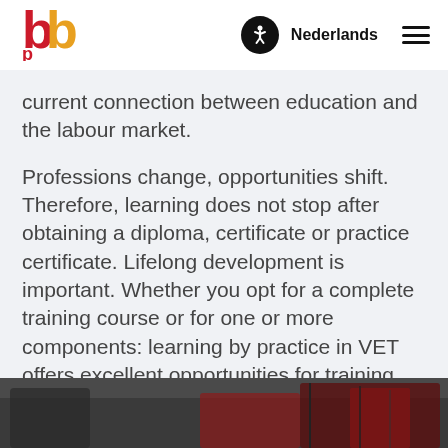[Figure (logo): SBB logo — stylized red and orange letters]
Nederlands ☰
current connection between education and the labour market.
Professions change, opportunities shift. Therefore, learning does not stop after obtaining a diploma, certificate or practice certificate. Lifelong development is important. Whether you opt for a complete training course or for one or more components: learning by practice in VET offers excellent opportunities for training, further training and perhaps even a career switch.
[Figure (photo): Photo of red agricultural machinery / farm equipment at the bottom of the page]